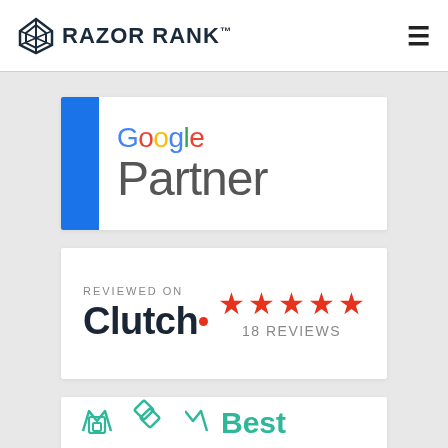RAZOR RANK™
[Figure (logo): Google Partner badge with blue vertical bar on left, 'Google' in multicolor text and 'Partner' in gray below]
[Figure (logo): Reviewed on Clutch badge with 5 red stars and '18 REVIEWS' text]
[Figure (logo): Partially visible badge with green diamond logo and 'Best' text (partially cropped)]